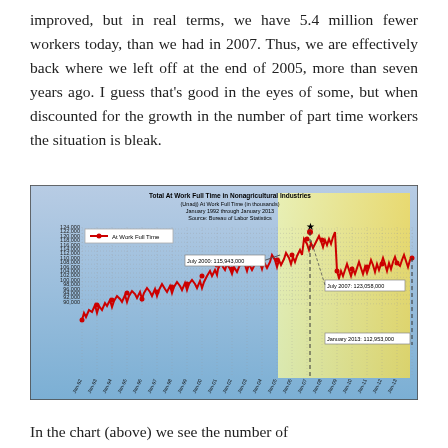improved, but in real terms, we have 5.4 million fewer workers today, than we had in 2007. Thus, we are effectively back where we left off at the end of 2005, more than seven years ago. I guess that's good in the eyes of some, but when discounted for the growth in the number of part time workers the situation is bleak.
[Figure (line-chart): Total At Work Full Time in Nonagricultural Industries (Unadj) At Work Full Time (in thousands) January 1992 through January 2013 Source: Bureau of Labor Statistics]
In the chart (above) we see the number of